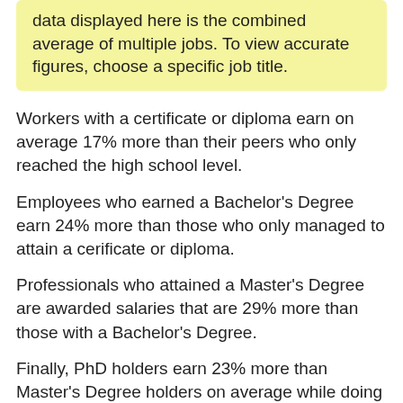data displayed here is the combined average of multiple jobs. To view accurate figures, choose a specific job title.
Workers with a certificate or diploma earn on average 17% more than their peers who only reached the high school level.
Employees who earned a Bachelor's Degree earn 24% more than those who only managed to attain a cerificate or diploma.
Professionals who attained a Master's Degree are awarded salaries that are 29% more than those with a Bachelor's Degree.
Finally, PhD holders earn 23% more than Master's Degree holders on average while doing the same job.